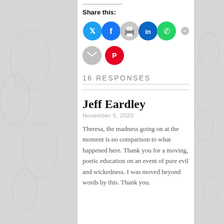Share this:
[Figure (infographic): Row of social media share icon buttons: Twitter (blue), Facebook (blue), Print (gray), LinkedIn (dark blue), WhatsApp (green), Email (gray), Pinterest (red)]
16 RESPONSES
Jeff Eardley
November 5, 2020
Theresa, the madness going on at the moment is no comparison to what happened here. Thank you for a moving, poetic education on an event of pure evil and wickedness. I was moved beyond words by this. Thank you.